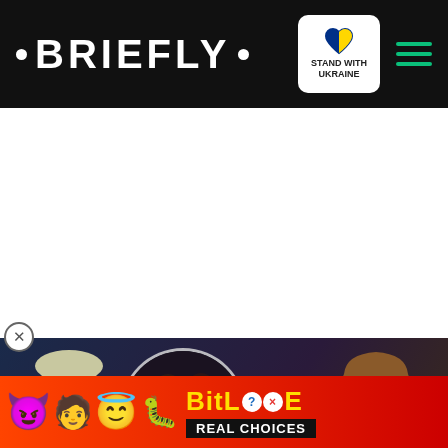· BRIEFLY ·
[Figure (screenshot): Briefly news website header with logo, Stand With Ukraine badge, and hamburger menu icon on black background]
[Figure (screenshot): Video overlay showing two people (man on left, woman in green on right), with a circular play button in center, and pink label 'WAS THEIR INTIMACY THE PROBLEM?' at bottom left. Red chevron-down button at bottom right.]
ere able to catch the UFO on ave been some debris or an rth:
[Figure (screenshot): BitLife advertisement banner with emoji characters (devil, person, angel) and worm/fish emoji, BitLife logo text in yellow, and 'REAL CHOICES' text on dark red/orange background]